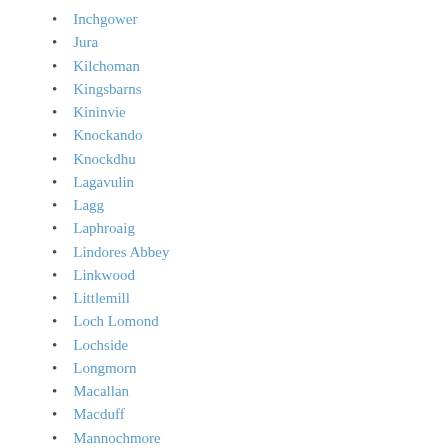Inchgower
Jura
Kilchoman
Kingsbarns
Kininvie
Knockando
Knockdhu
Lagavulin
Lagg
Laphroaig
Lindores Abbey
Linkwood
Littlemill
Loch Lomond
Lochside
Longmorn
Macallan
Macduff
Mannochmore
Millburn
Miltonduff
Mortlach
Nc'nean
Oban
Pittyvaich
Port Ellen
Pulteney